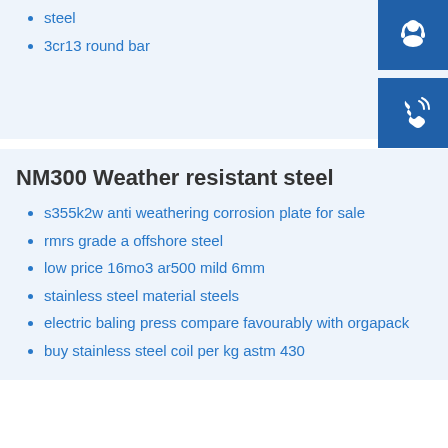steel
3cr13 round bar
[Figure (infographic): Customer support headset icon on blue square button]
[Figure (infographic): Phone call icon on blue square button]
[Figure (infographic): Skype icon on blue square button]
NM300 Weather resistant steel
s355k2w anti weathering corrosion plate for sale
rmrs grade a offshore steel
low price 16mo3 ar500 mild 6mm
stainless steel material steels
electric baling press compare favourably with orgapack
buy stainless steel coil per kg astm 430